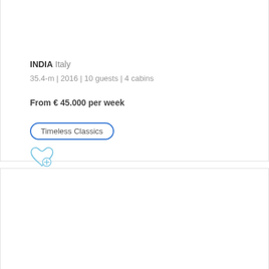INDIA Italy
35.4-m | 2016 | 10 guests | 4 cabins
From € 45.000 per week
Timeless Classics
[Figure (illustration): Heart with plus icon (wishlist/add to favorites button) in light blue outline style]